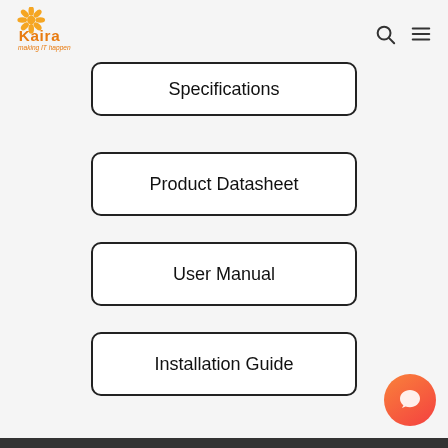[Figure (logo): Kaira logo with orange star/flower icon and orange text 'Kaira' with tagline 'making IT happen']
Specifications
Product Datasheet
User Manual
Installation Guide